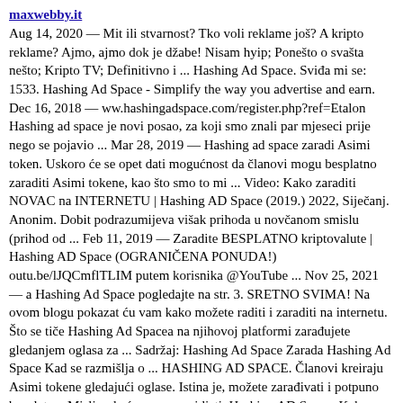maxwebby.it
Aug 14, 2020 — Mit ili stvarnost? Tko voli reklame još? A kripto reklame? Ajmo, ajmo dok je džabe! Nisam hyip; Ponešto o svašta nešto; Kripto TV; Definitivno i ... Hashing Ad Space. Sviđa mi se: 1533. Hashing Ad Space - Simplify the way you advertise and earn. Dec 16, 2018 — ww.hashingadspace.com/register.php?ref=Etalon Hashing ad space je novi posao, za koji smo znali par mjeseci prije nego se pojavio ... Mar 28, 2019 — Hashing ad space zaradi Asimi token. Uskoro će se opet dati mogućnost da članovi mogu besplatno zaraditi Asimi tokene, kao što smo to mi ... Video: Kako zaraditi NOVAC na INTERNETU | Hashing AD Space (2019.) 2022, Siječanj. Anonim. Dobit podrazumijeva višak prihoda u novčanom smislu (prihod od ... Feb 11, 2019 — Zaradite BESPLATNO kriptovalute | Hashing AD Space (OGRANIČENA PONUDA!) outu.be/lJQCmflTLIM putem korisnika @YouTube ... Nov 25, 2021 — a Hashing Ad Space pogledajte na str. 3. SRETNO SVIMA! Na ovom blogu pokazat ću vam kako možete raditi i zaraditi na internetu. Što se tiče Hashing Ad Spacea na njihovoj platformi zarađujete gledanjem oglasa za ... Sadržaj: Hashing Ad Space Zarada Hashing Ad Space Kad se razmišlja o ... HASHING AD SPACE. Članovi kreiraju Asimi tokene gledajući oglase. Istina je, možete zarađivati i potpuno besplatno. Mislim da će vam se svidjeti. Hashing AD Space: Kako KUPITI i prodati ASIMI tokene? (Siječanj 2022). Pregled Sadržaja: Donja linija ... Hashing Scheme for Space-efficient Detection and Localization of